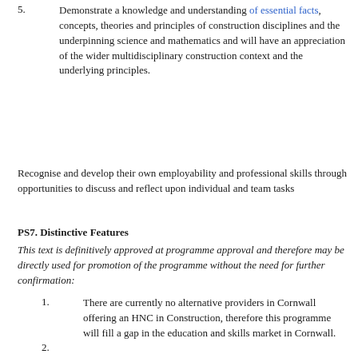5. Demonstrate a knowledge and understanding of essential facts, concepts, theories and principles of construction disciplines and the underpinning science and mathematics and will have an appreciation of the wider multidisciplinary construction context and the underlying principles.
Recognise and develop their own employability and professional skills through opportunities to discuss and reflect upon individual and team tasks
PS7. Distinctive Features
This text is definitively approved at programme approval and therefore may be directly used for promotion of the programme without the need for further confirmation:
1. There are currently no alternative providers in Cornwall offering an HNC in Construction, therefore this programme will fill a gap in the education and skills market in Cornwall.
2.